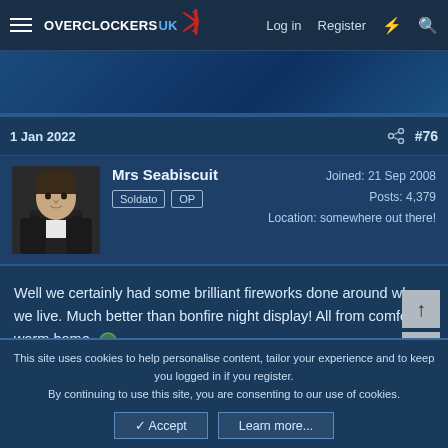Overclockers UK — Log in   Register
[Figure (other): Advertisement banner area with dark blue gradient background]
1 Jan 2022   #76
Mrs Seabiscuit  Soldato  OP  Joined: 21 Sep 2008  Posts: 4,379  Location: somewhere out there!
Well we certainly had some brilliant fireworks done around where we live. Much better than bonfire night display! All from comfort of warm home. 😊

HNY everyone. 😊
This site uses cookies to help personalise content, tailor your experience and to keep you logged in if you register. By continuing to use this site, you are consenting to our use of cookies.
✓ Accept   Learn more...